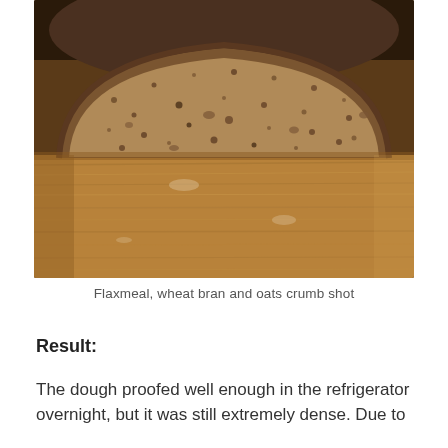[Figure (photo): A sliced loaf of dense, dark bread with visible flaxmeal, wheat bran and oats in the crumb, displayed on a wooden cutting board.]
Flaxmeal, wheat bran and oats crumb shot
Result:
The dough proofed well enough in the refrigerator overnight, but it was still extremely dense. Due to